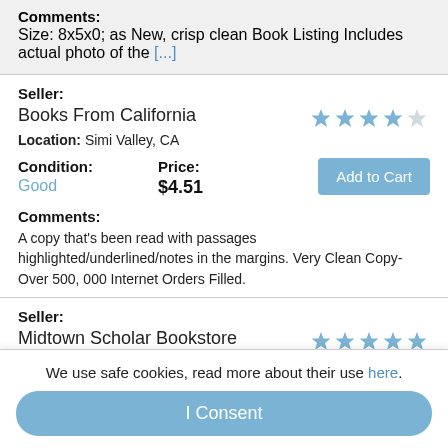Comments: Size: 8x5x0; as New, crisp clean Book Listing Includes actual photo of the [...]
Seller: Books From California
Location: Simi Valley, CA
Condition: Good
Price: $4.51
Comments: A copy that's been read with passages highlighted/underlined/notes in the margins. Very Clean Copy-Over 500, 000 Internet Orders Filled.
Seller: Midtown Scholar Bookstore
We use safe cookies, read more about their use here.
I Consent